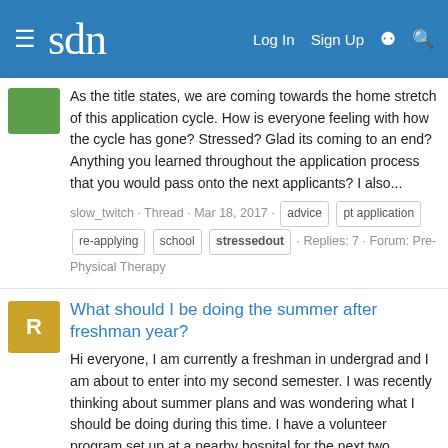sdn — Log In · Sign Up
As the title states, we are coming towards the home stretch of this application cycle. How is everyone feeling with how the cycle has gone? Stressed? Glad its coming to an end? Anything you learned throughout the application process that you would pass onto the next applicants? I also...
slow_twitch · Thread · Mar 18, 2017 · advice · pt application · re-applying · school · stressedout · Replies: 7 · Forum: Pre-Physical Therapy
What should I be doing the summer after freshman year?
Hi everyone, I am currently a freshman in undergrad and I am about to enter into my second semester. I was recently thinking about summer plans and was wondering what I should be doing during this time. I have a volunteer program set up at a nearby hospital for the next two semesters and I am...
Ramo35 · Thread · Jan 12, 2017 · college · confused · freshman year · stressedout · Replies: 3 · Forum: Pre-Medical (MD)